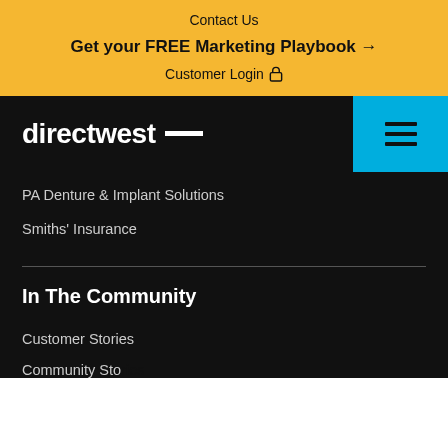Contact Us
Get your FREE Marketing Playbook →
Customer Login 🔒
[Figure (logo): directwest logo with white text and white dash on black background]
PA Denture & Implant Solutions
Smiths' Insurance
In The Community
Customer Stories
Community Stories